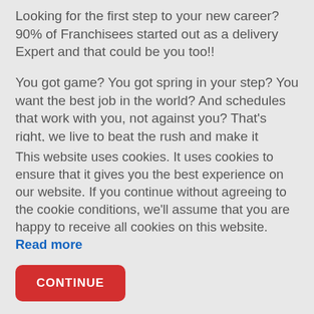Looking for the first step to your new career? 90% of Franchisees started out as a delivery Expert and that could be you too!!
You got game? You got spring in your step? You want the best job in the world? And schedules that work with you, not against you? That's right, we live to beat the rush and make it possible to make, bake or take pizzas during the hungry hours of the day and night, part or full time. You'll have plenty of time left over for school, hanging with your friends, or whatever. Sound
This website uses cookies. It uses cookies to ensure that it gives you the best experience on our website. If you continue without agreeing to the cookie conditions, we'll assume that you are happy to receive all cookies on this website. Read more